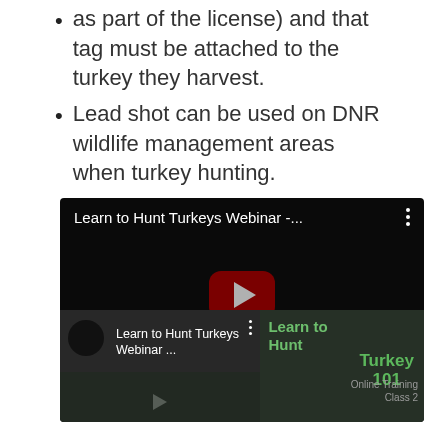as part of the license) and that tag must be attached to the turkey they harvest.
Lead shot can be used on DNR wildlife management areas when turkey hunting.
[Figure (screenshot): Embedded YouTube video player showing 'Learn to Hunt Turkeys Webinar -...' with a dark background, red YouTube play button in the center, and a playlist row below showing another video entry 'Learn to Hunt Turkeys Webinar ...' alongside a thumbnail with 'Turkey 101 Online Training Class 2' text.]